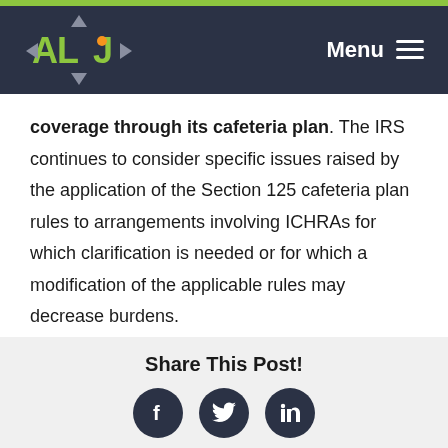ALJ logo and Menu navigation bar
coverage through its cafeteria plan. The IRS continues to consider specific issues raised by the application of the Section 125 cafeteria plan rules to arrangements involving ICHRAs for which clarification is needed or for which a modification of the applicable rules may decrease burdens.
Share This Post!